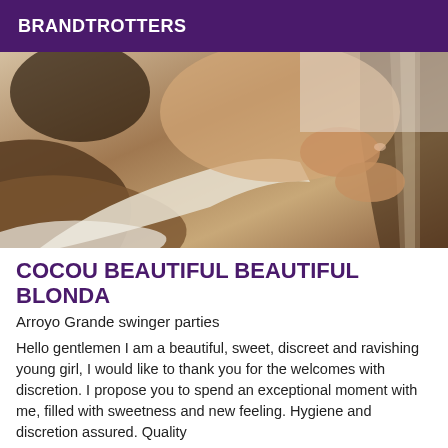BRANDTROTTERS
[Figure (photo): Close-up photo of a person lying on a massage table with brown and white striped towels/sheets]
COCOU BEAUTIFUL BEAUTIFUL BLONDA
Arroyo Grande swinger parties
Hello gentlemen I am a beautiful, sweet, discreet and ravishing young girl, I would like to thank you for the welcomes with discretion. I propose you to spend an exceptional moment with me, filled with sweetness and new feeling. Hygiene and discretion assured. Quality